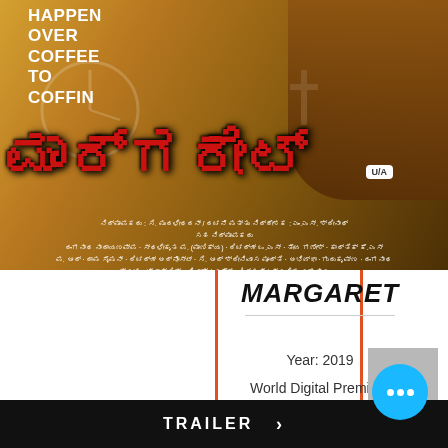[Figure (photo): Movie poster for 'Margaret' (Kannada film 2019). Shows text 'HAPPEN OVER COFFEE TO COFFIN' in white, large Kannada script title in red, U/A rating badge, cross symbol, actors' faces, golden/brown background with credits in Kannada script.]
MARGARET
Year: 2019
World Digital Premiere
Language: Kannada
TRAILER